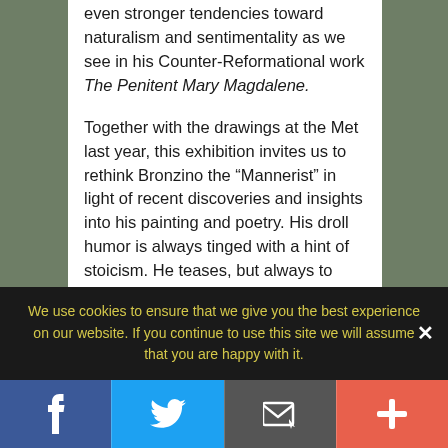even stronger tendencies toward naturalism and sentimentality as we see in his Counter-Reformational work The Penitent Mary Magdalene.
Together with the drawings at the Met last year, this exhibition invites us to rethink Bronzino the “Mannerist” in light of recent discoveries and insights into his painting and poetry. His droll humor is always tinged with a hint of stoicism. He teases, but always to some ulterior end. Dwarfs, butterflies, satyrs, gods and goddesses – all seem to frolic for a time, but Bronzino’s brush seems to remind them – and us – that there is also a time to sober up.
We use cookies to ensure that we give you the best experience on our website. If you continue to use this site we will assume that you are happy with it.